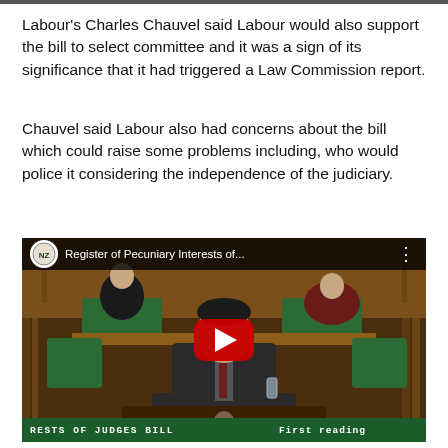Labour's Charles Chauvel said Labour would also support the bill to select committee and it was a sign of its significance that it had triggered a Law Commission report.
Chauvel said Labour also had concerns about the bill which could raise some problems including, who would police it considering the independence of the judiciary.
[Figure (screenshot): YouTube video screenshot showing a New Zealand Parliament session. A man in a suit is speaking at a podium. The video title reads 'Register of Pecuniary Interests of...' with the NZ Parliament logo. A red play button is centered on the image. A green banner at the bottom reads 'RESTS OF JUDGES BILL   First reading'.]